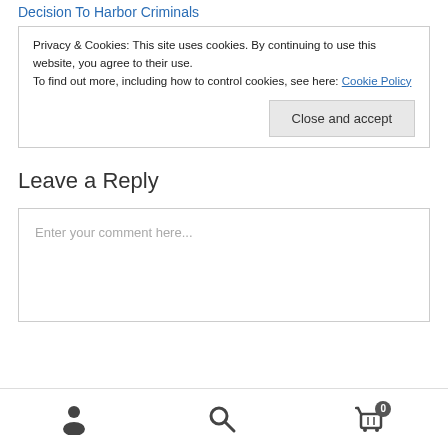Decision To Harbor Criminals
Privacy & Cookies: This site uses cookies. By continuing to use this website, you agree to their use.
To find out more, including how to control cookies, see here: Cookie Policy
Close and accept
Leave a Reply
Enter your comment here...
[user icon] [search icon] [cart icon with 0]